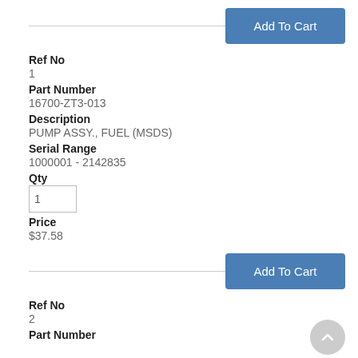Add To Cart
Ref No
1
Part Number
16700-ZT3-013
Description
PUMP ASSY., FUEL (MSDS)
Serial Range
1000001 - 2142835
Qty
1
Price
$37.58
Add To Cart
Ref No
2
Part Number